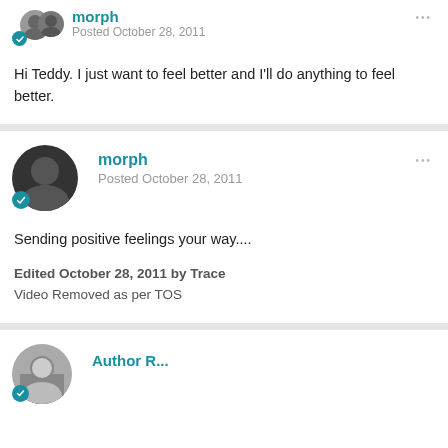morph
Posted October 28, 2011
Hi Teddy. I just want to feel better and I'll do anything to feel better.
morph
Posted October 28, 2011
Sending positive feelings your way....
Edited October 28, 2011 by Trace
Video Removed as per TOS